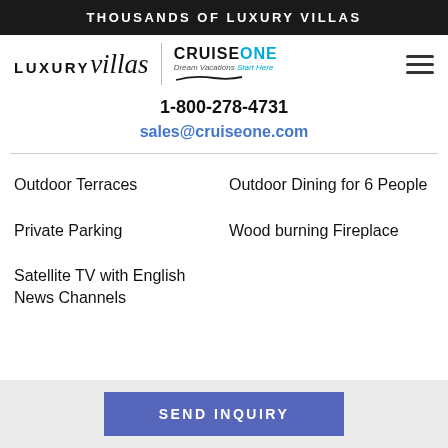THOUSANDS OF LUXURY VILLAS
[Figure (logo): LUXURYvillas logo with CruiseOne Dream Vacations Start Here logo side by side, separated by a vertical divider. Hamburger menu icon on the right.]
1-800-278-4731
sales@cruiseone.com
Outdoor Terraces
Outdoor Dining for 6 People
Private Parking
Wood burning Fireplace
Satellite TV with English News Channels
SEND INQUIRY